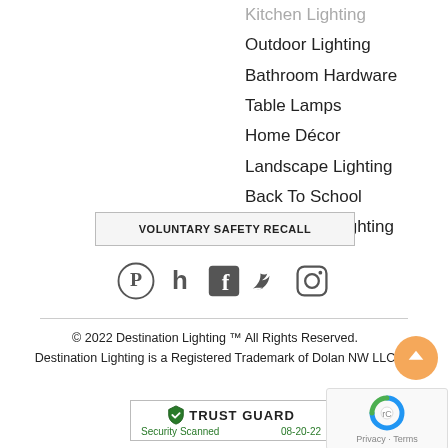Kitchen Lighting
Outdoor Lighting
Bathroom Hardware
Table Lamps
Home Décor
Landscape Lighting
Back To School
Workspace Lighting
VOLUNTARY SAFETY RECALL
[Figure (illustration): Social media icons: Pinterest, Houzz, Facebook, Twitter, Instagram]
© 2022 Destination Lighting ™ All Rights Reserved. Destination Lighting is a Registered Trademark of Dolan NW LLC
[Figure (logo): Trust Guard Security Scanned badge, date 08-20-22]
[Figure (other): reCAPTCHA Privacy - Terms badge]